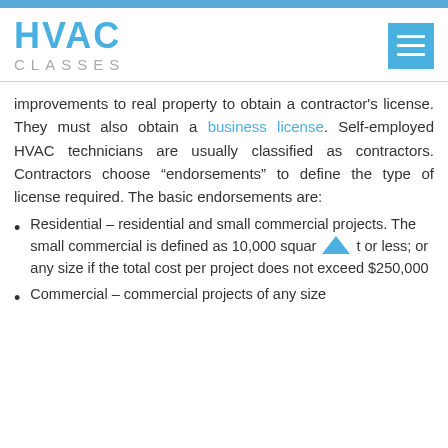HVAC CLASSES
improvements to real property to obtain a contractor's license. They must also obtain a business license. Self-employed HVAC technicians are usually classified as contractors. Contractors choose “endorsements” to define the type of license required. The basic endorsements are:
Residential – residential and small commercial projects. The small commercial is defined as 10,000 squar t or less; or any size if the total cost per project does not exceed $250,000
Commercial – commercial projects of any size